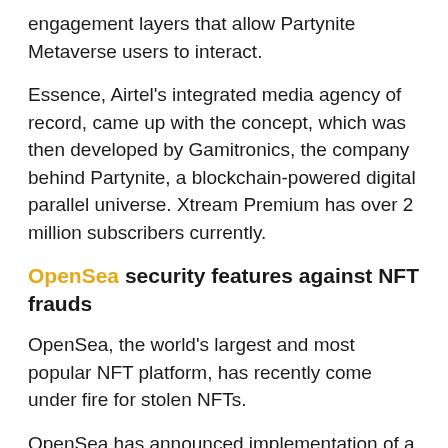engagement layers that allow Partynite Metaverse users to interact.
Essence, Airtel's integrated media agency of record, came up with the concept, which was then developed by Gamitronics, the company behind Partynite, a blockchain-powered digital parallel universe. Xtream Premium has over 2 million subscribers currently.
OpenSea security features against NFT frauds
OpenSea, the world's largest and most popular NFT platform, has recently come under fire for stolen NFTs.
OpenSea has announced implementation of a new feature that will automatically hide questionable NFT transfers from view on its marketplace, in response to the growing amount of NFT scams. This will help users avoiding fraud by blockchain companies that do...